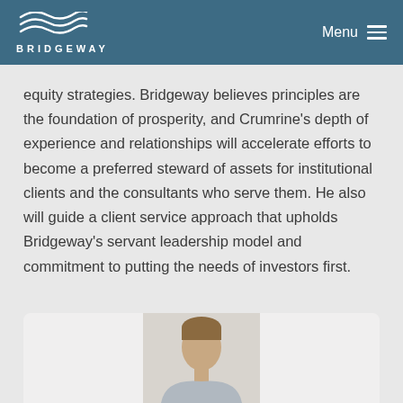BRIDGEWAY — Menu
equity strategies. Bridgeway believes principles are the foundation of prosperity, and Crumrine's depth of experience and relationships will accelerate efforts to become a preferred steward of assets for institutional clients and the consultants who serve them. He also will guide a client service approach that upholds Bridgeway's servant leadership model and commitment to putting the needs of investors first.
[Figure (photo): Headshot photo of a person, cropped at the shoulders, appearing at the bottom of the page in a rounded card.]